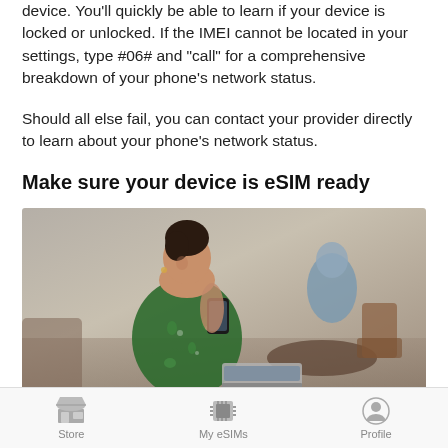device. You'll quickly be able to learn if your device is locked or unlocked. If the IMEI cannot be located in your settings, type #06# and "call" for a comprehensive breakdown of your phone's network status.
Should all else fail, you can contact your provider directly to learn about your phone's network status.
Make sure your device is eSIM ready
[Figure (photo): A woman in a green floral dress sitting outdoors at a cafe table, smiling and looking at her smartphone, with a laptop open in front of her. Other people and cafe furniture visible in the background.]
Store  My eSIMs  Profile